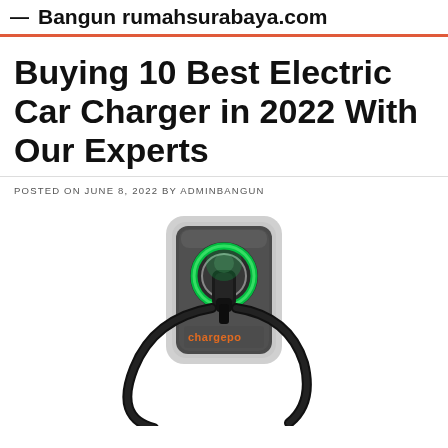— Bangun rumahsurabaya.com
Buying 10 Best Electric Car Charger in 2022 With Our Experts
POSTED ON JUNE 8, 2022 BY ADMINBANGUN
[Figure (photo): A ChargePoint home electric vehicle (EV) wall charger unit in dark gray/silver, with a glowing green ring around the charging connector port, and a black charging cable looped to the side. The ChargePoint logo in orange is visible on the front of the unit.]